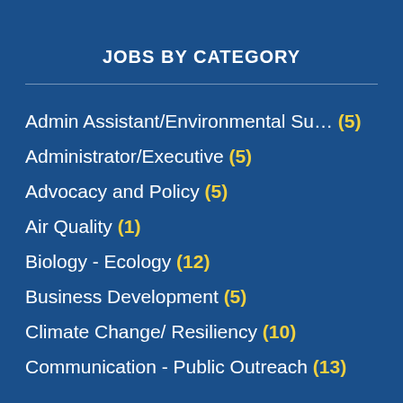JOBS BY CATEGORY
Admin Assistant/Environmental Su... (5)
Administrator/Executive (5)
Advocacy and Policy (5)
Air Quality (1)
Biology - Ecology (12)
Business Development (5)
Climate Change/ Resiliency (10)
Communication - Public Outreach (13)